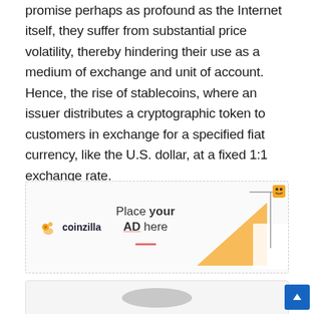promise perhaps as profound as the Internet itself, they suffer from substantial price volatility, thereby hindering their use as a medium of exchange and unit of account. Hence, the rise of stablecoins, where an issuer distributes a cryptographic token to customers in exchange for a specified fiat currency, like the U.S. dollar, at a fixed 1:1 exchange rate.
[Figure (other): Coinzilla advertisement banner with logo, 'Place your AD here' text with underline, and decorative triangle graphic with character illustration]
[Figure (other): Second advertisement box partially visible at bottom of page with gray oval shape]